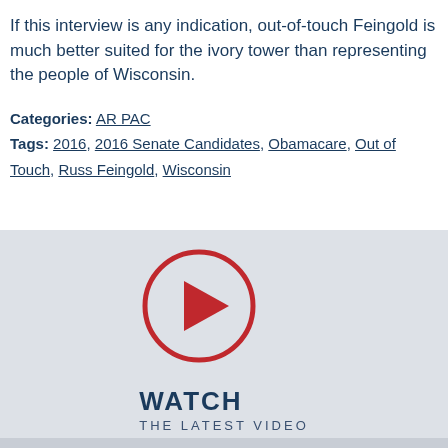If this interview is any indication, out-of-touch Feingold is much better suited for the ivory tower than representing the people of Wisconsin.
Categories: AR PAC
Tags: 2016, 2016 Senate Candidates, Obamacare, Out of Touch, Russ Feingold, Wisconsin
[Figure (other): Play button circle icon with red border and red triangle, above WATCH THE LATEST VIDEO text]